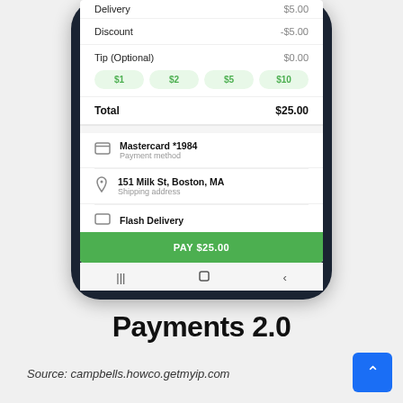[Figure (screenshot): Mobile phone screenshot showing a payment checkout screen with delivery, discount, tip, total, Mastercard *1984 payment method, 151 Milk St Boston MA shipping address, Flash Delivery, and a green PAY $25.00 button]
Payments 2.0
Source: campbells.howco.getmyip.com